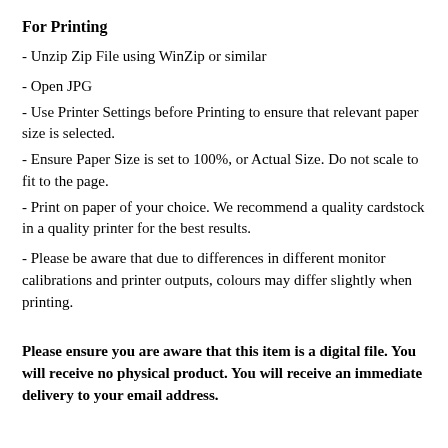For Printing
- Unzip Zip File using WinZip or similar
- Open JPG
- Use Printer Settings before Printing to ensure that relevant paper size is selected.
- Ensure Paper Size is set to 100%, or Actual Size. Do not scale to fit to the page.
- Print on paper of your choice. We recommend a quality cardstock in a quality printer for the best results.
- Please be aware that due to differences in different monitor calibrations and printer outputs, colours may differ slightly when printing.
Please ensure you are aware that this item is a digital file. You will receive no physical product. You will receive an immediate delivery to your email address.